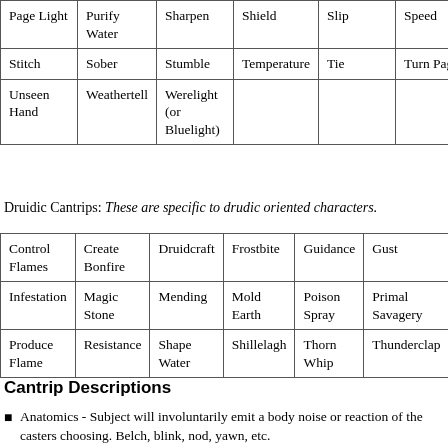| Page Light | Purify Water | Sharpen | Shield | Slip | Speed |
| Stitch | Sober | Stumble | Temperature | Tie | Turn Page |
| Unseen Hand | Weathertell | Werelight (or Bluelight) |  |  |  |
Druidic Cantrips: These are specific to drudic oriented characters.
| Control Flames | Create Bonfire | Druidcraft | Frostbite | Guidance | Gust |
| Infestation | Magic Stone | Mending | Mold Earth | Poison Spray | Primal Savagery |
| Produce Flame | Resistance | Shape Water | Shillelagh | Thorn Whip | Thunderclap |
Cantrip Descriptions
Anatomics - Subject will involuntarily emit a body noise or reaction of the casters choosing. Belch, blink, nod, yawn, etc.